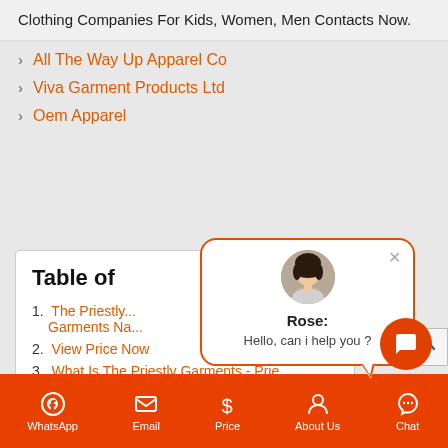Clothing Companies For Kids, Women, Men Contacts Now.
All The Way Up Apparel Co
Viva Garment Products Ltd
Oem Apparel
Table of
1. The Priestly... Garments Na...
2. View Price Now
3. What Is The Priestly Garments - Prie...
[Figure (screenshot): Chat popup with avatar of Rose saying: Hello, can i help you ?]
WhatsApp  Email  Price  About Us  Chat